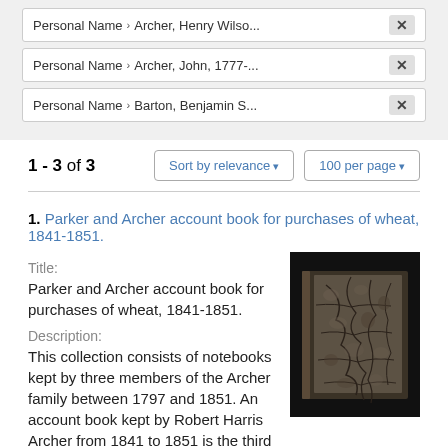| Personal Name | Archer, Henry Wilso... |
| Personal Name | Archer, John, 1777-... |
| Personal Name | Barton, Benjamin S... |
1 - 3 of 3
Sort by relevance
100 per page
1. Parker and Archer account book for purchases of wheat, 1841-1851.
Title:
Parker and Archer account book for purchases of wheat, 1841-1851.
Description:
This collection consists of notebooks kept by three members of the Archer family between 1797 and 1851. An account book kept by Robert Harris Archer from 1841 to 1851 is the third file in this series.
[Figure (photo): Photo of an old book cover with a cracked, mottled dark brown/grey surface texture, on a black background.]